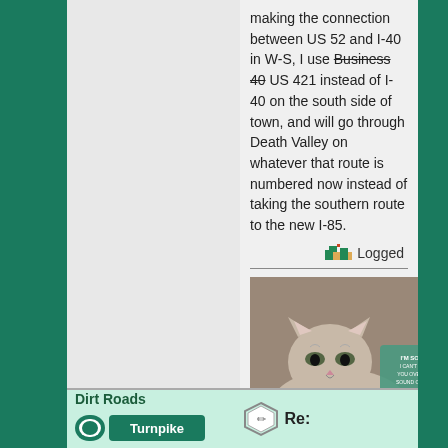making the connection between US 52 and I-40 in W-S, I use Business 40 [strikethrough] US 421 instead of I-40 on the south side of town, and will go through Death Valley on whatever that route is numbered now instead of taking the southern route to the new I-85.
[Figure (photo): Grumpy cat lying down with a sign that reads I'M SORRY I CAN'T HEAR YOU OVER THE SOUND OF HOW WRONG YOU ARE.]
I identify as vaccinated.
Dirt Roads
[Figure (logo): Turnpike green road sign badge]
Re: